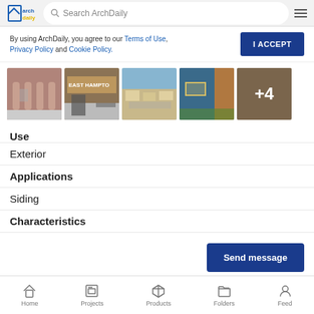ArchDaily – Search ArchDaily
By using ArchDaily, you agree to our Terms of Use, Privacy Policy and Cookie Policy.
[Figure (screenshot): Row of five architectural building photos with a '+4' overlay on the last one]
Use
Exterior
Applications
Siding
Characteristics
Home  Projects  Products  Folders  Feed